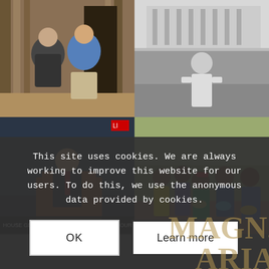[Figure (photo): Top-left photo: Two people (a woman in a patterned top and a man in a blue shirt) posing indoors near classical columns, possibly a museum or historic building.]
[Figure (photo): Top-right photo: Black and white image of a man in military or casual attire standing outdoors in front of a large building.]
[Figure (photo): Bottom-left photo: A man in a suit and tie speaking at a podium in what appears to be the U.S. House of Representatives chamber. C-SPAN lower third reads: HOUSE GENERAL SPEECHES - UP TO ONE HOUR EACH.]
[Figure (photo): Bottom-right photo: A group of African children holding bowls or containers, smiling at the camera outdoors.]
This site uses cookies. We are always working to improve this website for our users. To do this, we use the anonymous data provided by cookies.
OK
Learn more